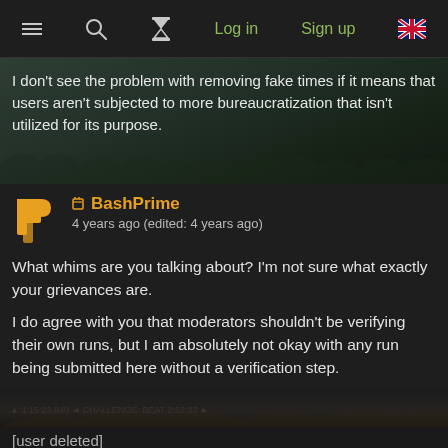≡  🔍  ⏱  Log in  Sign up  🇬🇧
I don't see the problem with removing fake times if it means that users aren't subjected to more bureaucratization that isn't utilized for its purpose.
BashPrime
4 years ago (edited: 4 years ago)
What whims are you talking about? I'm not sure what exactly your grievances are.
I do agree with you that moderators shouldn't be verifying their own runs, but I am absolutely not okay with any run being submitted here without a verification step.
[user deleted]